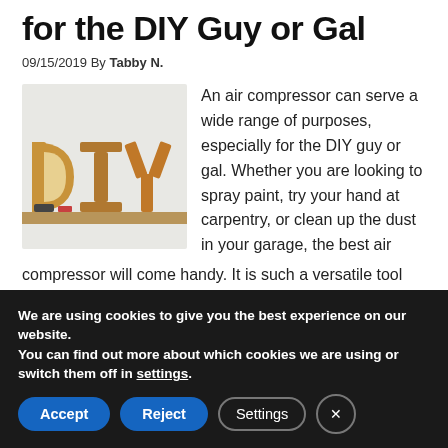for the DIY Guy or Gal
09/15/2019 By Tabby N.
[Figure (photo): Wooden DIY letter blocks on a shelf or table, showing the letters D, I, Y in wooden block form against a light background]
An air compressor can serve a wide range of purposes, especially for the DIY guy or gal. Whether you are looking to spray paint, try your hand at carpentry, or clean up the dust in your garage, the best air compressor will come handy. It is such a versatile tool
We are using cookies to give you the best experience on our website.
You can find out more about which cookies we are using or switch them off in settings.
Accept  Reject  Settings  ×